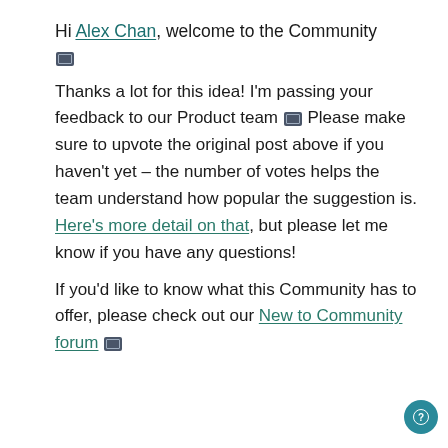Hi Alex Chan, welcome to the Community 🏢
Thanks a lot for this idea! I'm passing your feedback to our Product team 🏢 Please make sure to upvote the original post above if you haven't yet – the number of votes helps the team understand how popular the suggestion is. Here's more detail on that, but please let me know if you have any questions!
If you'd like to know what this Community has to offer, please check out our New to Community forum 🏢